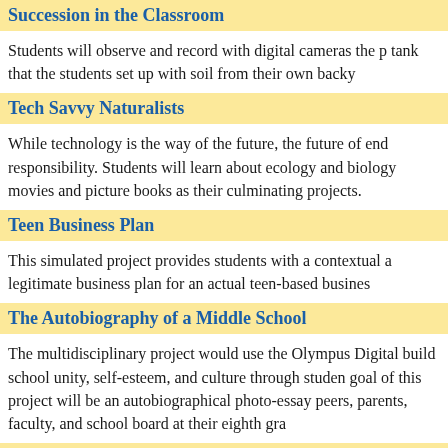Succession in the Classroom
Students will observe and record with digital cameras the p tank that the students set up with soil from their own backy
Tech Savvy Naturalists
While technology is the way of the future, the future of end responsibility. Students will learn about ecology and biology movies and picture books as their culminating projects.
Teen Business Plan
This simulated project provides students with a contextual a legitimate business plan for an actual teen-based busines
The Autobiography of a Middle School
The multidisciplinary project would use the Olympus Digital build school unity, self-esteem, and culture through studen goal of this project will be an autobiographical photo-essay peers, parents, faculty, and school board at their eighth gra
The Bill of Rights in Action